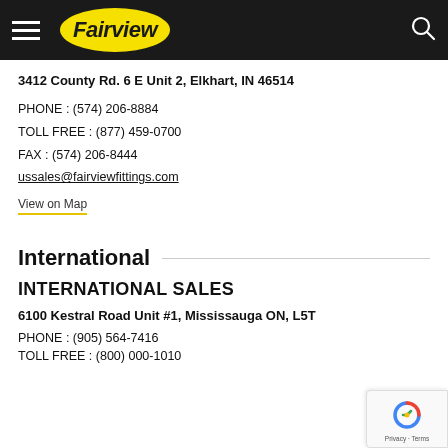Fairview (navigation header with logo)
3412 County Rd. 6 E Unit 2, Elkhart, IN 46514
PHONE: (574) 206-8884
TOLL FREE: (877) 459-0700
FAX: (574) 206-8444
ussales@fairviewfittings.com
View on Map
International
INTERNATIONAL SALES
6100 Kestral Road Unit #1, Mississauga ON, L5T
PHONE: (905) 564-7416
TOLL FREE: (800) 000-1010